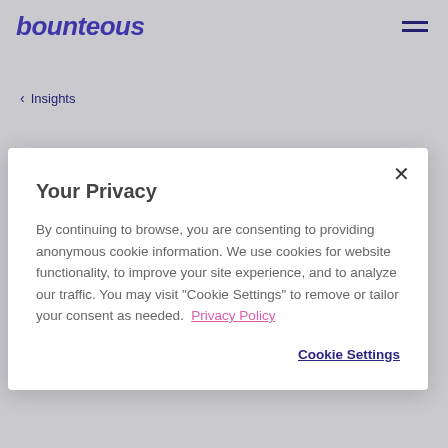bounteous
< Insights
2018 Drupal MidCamp R...
Your Privacy
By continuing to browse, you are consenting to providing anonymous cookie information. We use cookies for website functionality, to improve your site experience, and to analyze our traffic. You may visit "Cookie Settings" to remove or tailor your consent as needed.  Privacy Policy
Cookie Settings